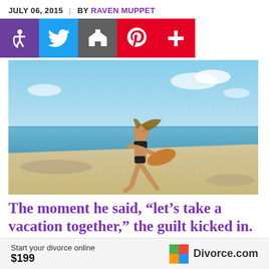JULY 06, 2015  |  BY RAVEN MUPPET
[Figure (infographic): Social sharing bar with accessibility, Twitter, email, Pinterest, and plus buttons]
[Figure (photo): A woman in a black bikini running on a beach carrying a surfboard, blue sky and sea in background]
The moment he said, “let’s take a vacation together,” the guilt kicked in. Traveling without
Start your divorce online $199  Divorce.com